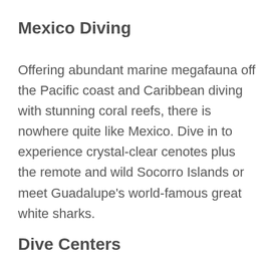Mexico Diving
Offering abundant marine megafauna off the Pacific coast and Caribbean diving with stunning coral reefs, there is nowhere quite like Mexico. Dive in to experience crystal-clear cenotes plus the remote and wild Socorro Islands or meet Guadalupe’s world-famous great white sharks.
Dive Centers